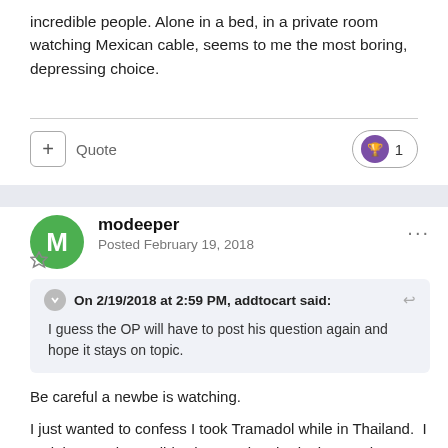incredible people. Alone in a bed, in a private room watching Mexican cable, seems to me the most boring, depressing choice.
+ Quote  1
modeeper
Posted February 19, 2018
On 2/19/2018 at 2:59 PM, addtocart said:
I guess the OP will have to post his question again and hope it stays on topic.
Be careful a newbe is watching.
I just wanted to confess I took Tramadol while in Thailand.  I took it everyday.  I didn't have pain, I had misery.  The sense of well being I get helped me through it.  I've taken a lot of different